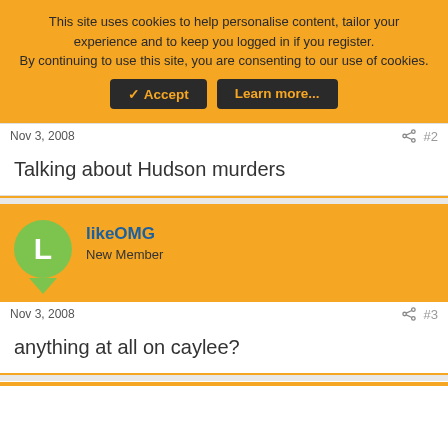This site uses cookies to help personalise content, tailor your experience and to keep you logged in if you register.
By continuing to use this site, you are consenting to our use of cookies.
✓ Accept | Learn more...
Nov 3, 2008
#2
Talking about Hudson murders
likeOMG
New Member
Nov 3, 2008
#3
anything at all on caylee?